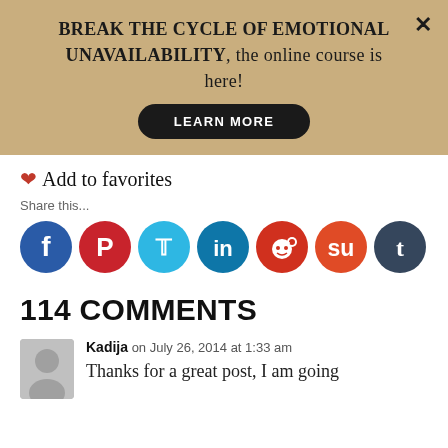[Figure (infographic): Promotional banner with tan/gold background. Text: BREAK THE CYCLE OF EMOTIONAL UNAVAILABILITY, the online course is here! With a black Learn More button and an X close button.]
Add to favorites
Share this...
[Figure (infographic): Row of 7 social media share icons: Facebook (blue), Pinterest (red/white), Twitter (light blue), LinkedIn (dark blue), Reddit (red), StumbleUpon (orange-red), Tumblr (dark blue-gray)]
114 COMMENTS
Kadija on July 26, 2014 at 1:33 am
Thanks for a great post, I am going